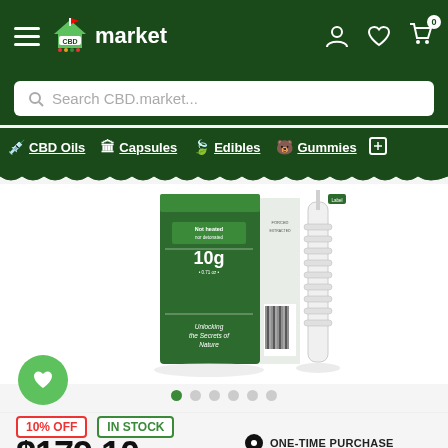CBD market
Search CBD.market...
CBD Oils
Capsules
Edibles
Gummies
[Figure (photo): Product image: green CBD oil box labeled '10g', 'Not heated nor detonated', 'Unlocking the Secrets of Nature', with a syringe/applicator beside it]
10% OFF  IN STOCK
$179.10
ONE-TIME PURCHASE
SUBSCRIBE AND SAVE  5%
MSRP: $199.00